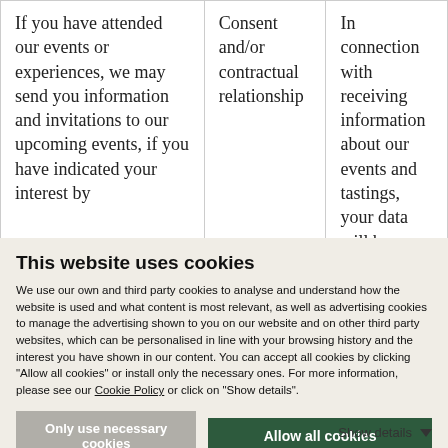| If you have attended our events or experiences, we may send you information and invitations to our upcoming events, if you have indicated your interest by | Consent and/or contractual relationship | In connection with receiving information about our events and tastings, your data will be |
This website uses cookies
We use our own and third party cookies to analyse and understand how the website is used and what content is most relevant, as well as advertising cookies to manage the advertising shown to you on our website and on other third party websites, which can be personalised in line with your browsing history and the interest you have shown in our content. You can accept all cookies by clicking "Allow all cookies" or install only the necessary ones. For more information, please see our Cookie Policy or click on "Show details".